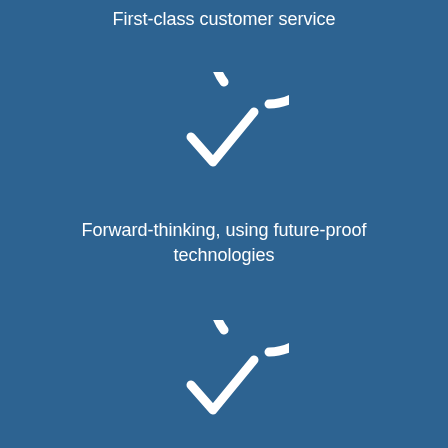First-class customer service
[Figure (illustration): White checkmark in a circle icon on blue background]
Forward-thinking, using future-proof technologies
[Figure (illustration): White checkmark in a circle icon on blue background]